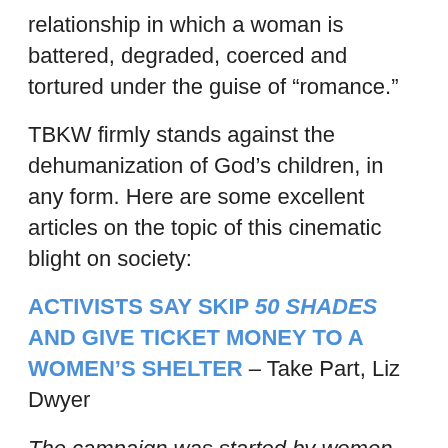relationship in which a woman is battered, degraded, coerced and tortured under the guise of “Romance.”
TBKW firmly stands against the dehumanization of God’s children, in any form. Here are some excellent articles on the topic of this cinematic blight on society:
ACTIVISTS SAY SKIP 50 SHADES AND GIVE TICKET MONEY TO A WOMEN’S SHELTER – Take Part, Liz Dwyer
The campaign was started by women from Stop Porn Culture, the National Center on Sexual Exploitation, and the London Abused Women Centre in Canada. It’s inspired by 50 Shades Is Abuse, an effort begun nearly three years ago by Natalie Collins, a British advocate for domestic violence victims. She and other activists worry that the film will send a message that she is...